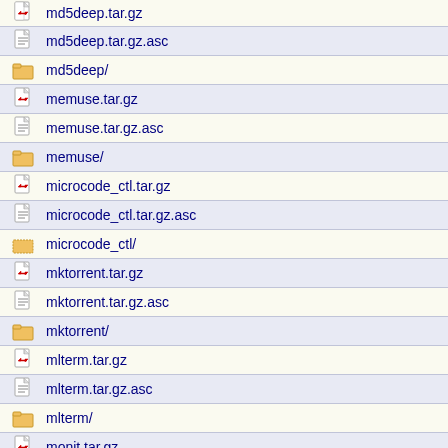md5deep.tar.gz
md5deep.tar.gz.asc
md5deep/
memuse.tar.gz
memuse.tar.gz.asc
memuse/
microcode_ctl.tar.gz
microcode_ctl.tar.gz.asc
microcode_ctl/
mktorrent.tar.gz
mktorrent.tar.gz.asc
mktorrent/
mlterm.tar.gz
mlterm.tar.gz.asc
mlterm/
monit.tar.gz